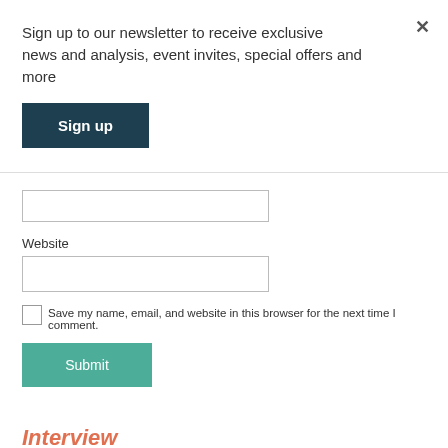Sign up to our newsletter to receive exclusive news and analysis, event invites, special offers and more
Sign up
Website
Save my name, email, and website in this browser for the next time I comment.
Submit
Interview
1 March 2003
Author...